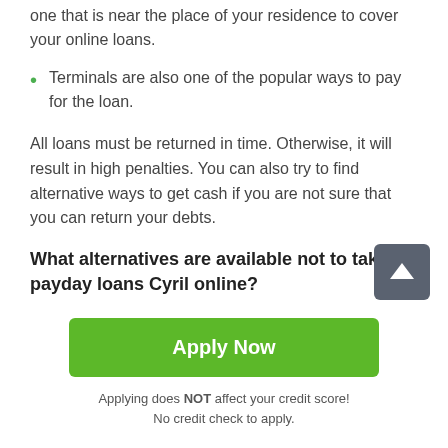one that is near the place of your residence to cover your online loans.
Terminals are also one of the popular ways to pay for the loan.
All loans must be returned in time. Otherwise, it will result in high penalties. You can also try to find alternative ways to get cash if you are not sure that you can return your debts.
What alternatives are available not to take payday loans Cyril online?
As the loaners claim, it's more advantageous to take 24 hour payday loans Cyril in OK from the credit companies
Apply Now
Applying does NOT affect your credit score!
No credit check to apply.